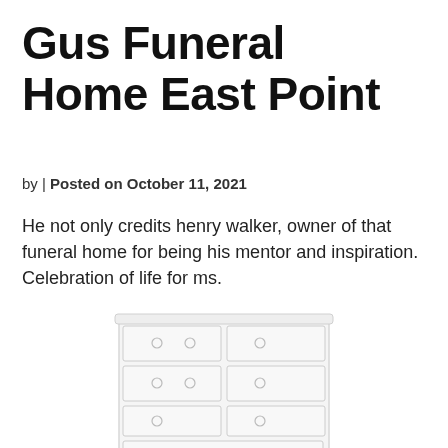Gus Funeral Home East Point
by | Posted on October 11, 2021
He not only credits henry walker, owner of that funeral home for being his mentor and inspiration. Celebration of life for ms.
[Figure (illustration): Illustration of a white chest of drawers / dresser with multiple drawers and small round knobs]